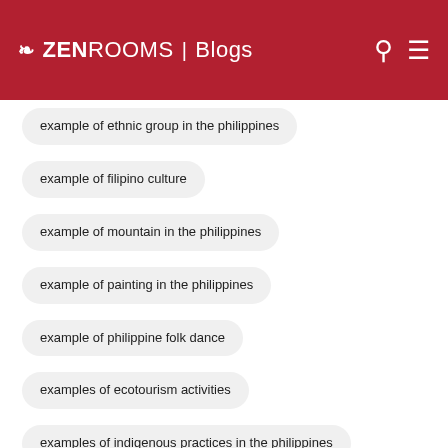ZEN ROOMS | Blogs
example of ethnic group in the philippines
example of filipino culture
example of mountain in the philippines
example of painting in the philippines
example of philippine folk dance
examples of ecotourism activities
examples of indigenous practices in the philippines
exotic food
expedia
extended stay